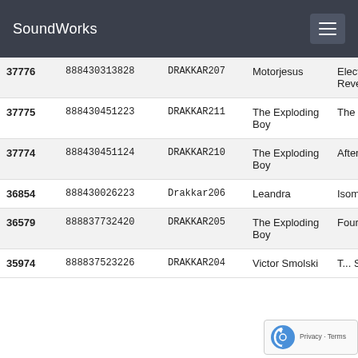SoundWorks
| ID | Barcode | Catalog | Artist | Title |
| --- | --- | --- | --- | --- |
| 37776 | 888430313828 | DRAKKAR207 | Motorjesus | Electric Revelation |
| 37775 | 888430451223 | DRAKKAR211 | The Exploding Boy | The Black Al... |
| 37774 | 888430451124 | DRAKKAR210 | The Exploding Boy | Afterglow |
| 36854 | 888430026223 | Drakkar206 | Leandra | Isomorphine |
| 36579 | 888837732420 | DRAKKAR205 | The Exploding Boy | Four |
| 35974 | 888837523226 | DRAKKAR204 | Victor Smolski | T... Symphoni... |